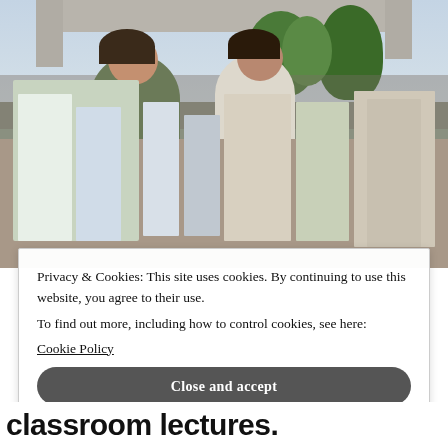[Figure (photo): Outdoor market or event scene with a smiling woman in a green tank top standing behind a table covered with brochures, pamphlets, and informational materials. Another person stands nearby. Trees and people are visible in the background under what appears to be a large structure or bridge overhang.]
Privacy & Cookies: This site uses cookies. By continuing to use this website, you agree to their use.
To find out more, including how to control cookies, see here:
Cookie Policy
Close and accept
classroom lectures.